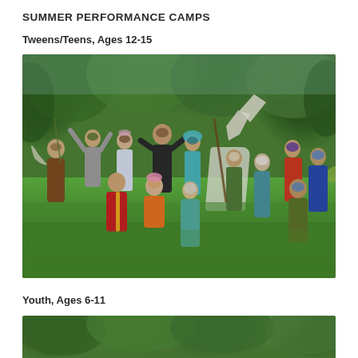SUMMER PERFORMANCE CAMPS
Tweens/Teens, Ages 12-15
[Figure (photo): Group of children and teens in colorful costumes and masks posing outdoors on a grass lawn surrounded by trees. They are wearing theatrical masks and colorful costumes including capes, wings, and nature-themed outfits.]
Youth, Ages 6-11
[Figure (photo): Partial view of an outdoor setting with green foliage, beginning of another group photo.]